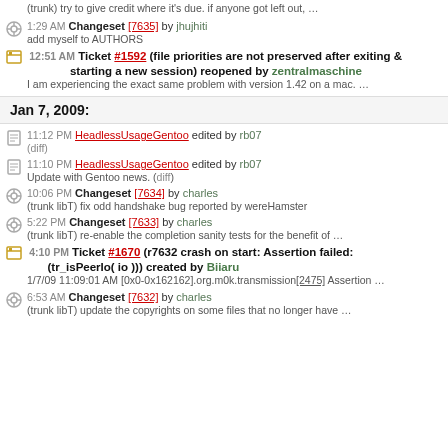(trunk) try to give credit where it's due. if anyone got left out, …
1:29 AM Changeset [7635] by jhujhiti — add myself to AUTHORS
12:51 AM Ticket #1592 (file priorities are not preserved after exiting & starting a new session) reopened by zentralmaschine — I am experiencing the exact same problem with version 1.42 on a mac. …
Jan 7, 2009:
11:12 PM HeadlessUsageGentoo edited by rb07 (diff)
11:10 PM HeadlessUsageGentoo edited by rb07 — Update with Gentoo news. (diff)
10:06 PM Changeset [7634] by charles — (trunk libT) fix odd handshake bug reported by wereHamster
5:22 PM Changeset [7633] by charles — (trunk libT) re-enable the completion sanity tests for the benefit of …
4:10 PM Ticket #1670 (r7632 crash on start: Assertion failed: (tr_isPeerIo( io ))) created by Biiaru — 1/7/09 11:09:01 AM [0x0-0x162162].org.m0k.transmission[2475] Assertion …
6:53 AM Changeset [7632] by charles — (trunk libT) update the copyrights on some files that no longer have …